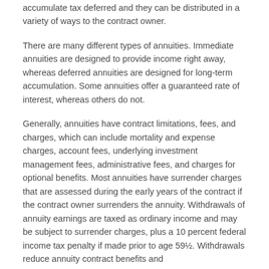accumulate tax deferred and they can be distributed in a variety of ways to the contract owner.
There are many different types of annuities. Immediate annuities are designed to provide income right away, whereas deferred annuities are designed for long-term accumulation. Some annuities offer a guaranteed rate of interest, whereas others do not.
Generally, annuities have contract limitations, fees, and charges, which can include mortality and expense charges, account fees, underlying investment management fees, administrative fees, and charges for optional benefits. Most annuities have surrender charges that are assessed during the early years of the contract if the contract owner surrenders the annuity. Withdrawals of annuity earnings are taxed as ordinary income and may be subject to surrender charges, plus a 10 percent federal income tax penalty if made prior to age 59½. Withdrawals reduce annuity contract benefits and